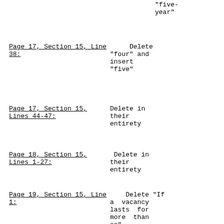“five-year”
Page 17, Section 15, Line 38: Delete “four” and insert “five”
Page 17, Section 15, Lines 44-47: Delete in their entirety
Page 18, Section 15, Lines 1-27: Delete in their entirety
Page 19, Section 15, Line 1: Delete “If a vacancy lasts for more than so”